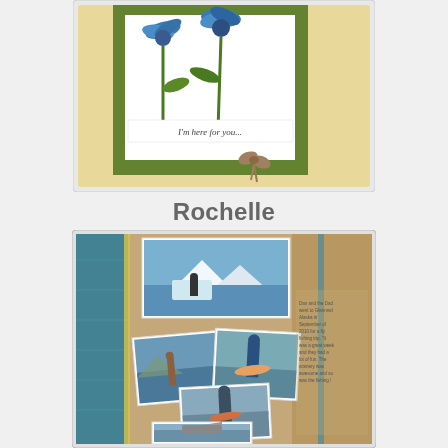[Figure (photo): A handmade greeting card with blue daisy/coneflower die-cuts on green embossed background with yellow patterned paper border. Sentiment reads 'I'm here for you...' with a burlap bow embellishment.]
Rochelle
[Figure (photo): A scrapbook layout page featuring multiple photos of fishing trips in Glennallen, Alaska. Layout has teal/blue patterned border on the left, tan/kraft center background. Photos show: person standing near glacier and lake, person wading in river fishing, person holding a large salmon, person holding fish in hooded jacket, and a small plane near water. Journaling text on the right side describes the trip.]